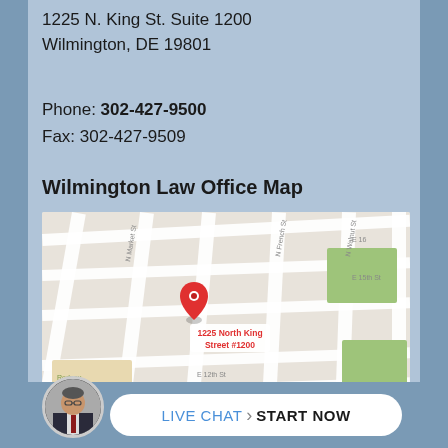1225 N. King St. Suite 1200
Wilmington, DE 19801
Phone: 302-427-9500
Fax: 302-427-9509
Wilmington Law Office Map
[Figure (map): Google map showing location of 1225 North King Street #1200 in Wilmington, DE, with red map pin marker and surrounding streets including N Market St, N French St, N Walnut St, E 16th St, E 15th St, E 12th St, Wilson St, and Rodney Square Associates area.]
LIVE CHAT  START NOW